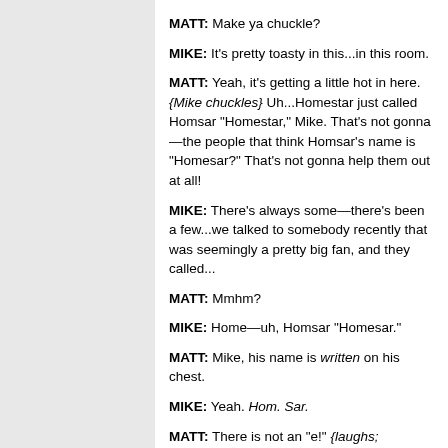MATT: Make ya chuckle?
MIKE: It's pretty toasty in this...in this room.
MATT: Yeah, it's getting a little hot in here. {Mike chuckles} Uh...Homestar just called Homsar "Homestar," Mike. That's not gonna—the people that think Homsar's name is "Homesar?" That's not gonna help them out at all!
MIKE: There's always some—there's been a few...we talked to somebody recently that was seemingly a pretty big fan, and they called...
MATT: Mmhm?
MIKE: Home—uh, Homsar "Homesar."
MATT: Mike, his name is written on his chest.
MIKE: Yeah. Hom. Sar.
MATT: There is not an "e!" {laughs; Marzipan's plan comes up} Oh, yeah. We had to watch a lot of, uh,